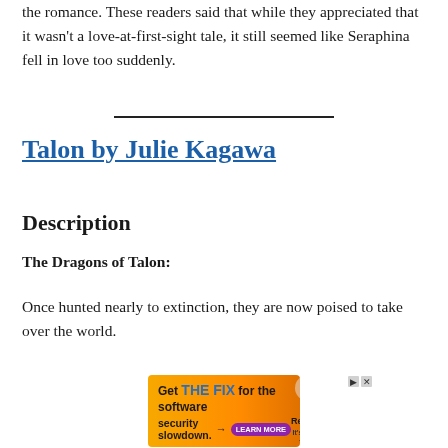the romance. These readers said that while they appreciated that it wasn't a love-at-first-sight tale, it still seemed like Seraphina fell in love too suddenly.
Talon by Julie Kagawa
Description
The Dragons of Talon:
Once hunted nearly to extinction, they are now poised to take over the world.
[Figure (other): Advertisement banner: 'Get THE FIX for the software security slowdown.' with Rezilion branding and a LEARN MORE button.]